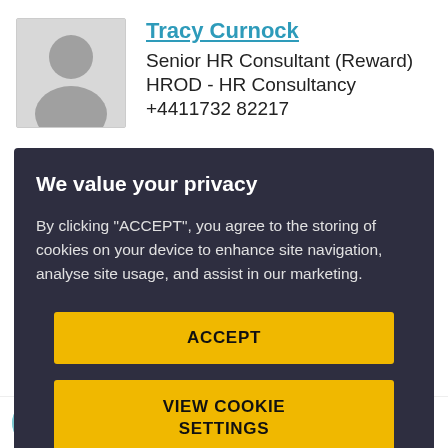[Figure (photo): Default user avatar silhouette (grey person icon on light grey background)]
Tracy Curnock
Senior HR Consultant (Reward)
HROD - HR Consultancy
+4411732 82217
We value your privacy
By clicking "ACCEPT", you agree to the storing of cookies on your device to enhance site navigation, analyse site usage, and assist in our marketing.
ACCEPT
VIEW COOKIE SETTINGS
Mariwish Khan